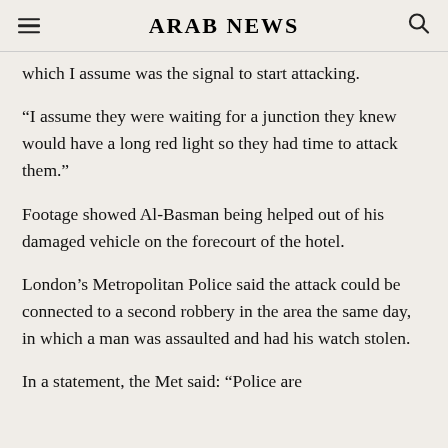ARAB NEWS
which I assume was the signal to start attacking.
“I assume they were waiting for a junction they knew would have a long red light so they had time to attack them.”
Footage showed Al-Basman being helped out of his damaged vehicle on the forecourt of the hotel.
London’s Metropolitan Police said the attack could be connected to a second robbery in the area the same day, in which a man was assaulted and had his watch stolen.
In a statement, the Met said: “Police are